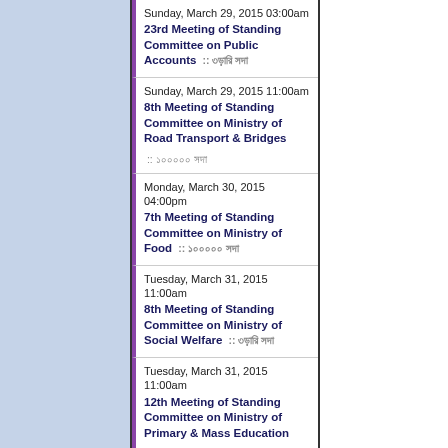Sunday, March 29, 2015 03:00am
23rd Meeting of Standing Committee on Public Accounts :: ড. মো. আব্দুর রাজ্জাক
Sunday, March 29, 2015 11:00am
8th Meeting of Standing Committee on Ministry of Road Transport & Bridges :: জনাবা সাগুফতা ইয়াসমীন
Monday, March 30, 2015 04:00pm
7th Meeting of Standing Committee on Ministry of Food :: জনাবা সাগুফতা ইয়াসমীন
Tuesday, March 31, 2015 11:00am
8th Meeting of Standing Committee on Ministry of Social Welfare :: জনাবা সাগুফতা ইয়াসমীন
Tuesday, March 31, 2015 11:00am
12th Meeting of Standing Committee on Ministry of Primary & Mass Education :: জনাবা সাগুফতা ইয়াসমীন